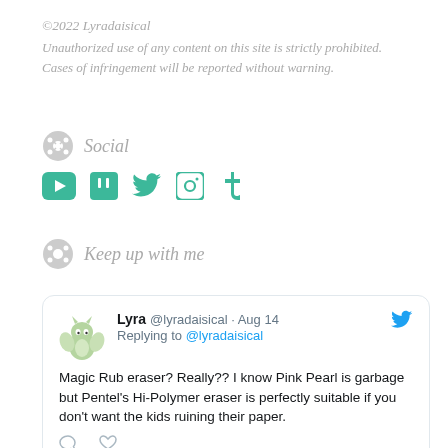©2022 Lyradaisical
Unauthorized use of any content on this site is strictly prohibited. Cases of infringement will be reported without warning.
Social
[Figure (illustration): Row of social media icons: YouTube, Twitch, Twitter, Instagram, Tumblr — all in teal/green color]
Keep up with me
Lyra @lyradaisical · Aug 14
Replying to @lyradaisical
Magic Rub eraser? Really?? I know Pink Pearl is garbage but Pentel's Hi-Polymer eraser is perfectly suitable if you don't want the kids ruining their paper.